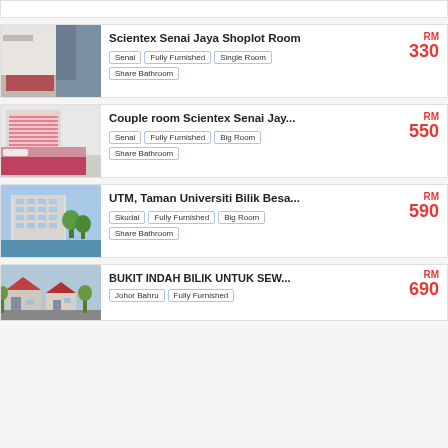Scientex Senai Jaya Shoplot Room | Senai | Fully Furnished | Single Room | Share Bathroom | RM 330
Couple room Scientex Senai Jay... | Senai | Fully Furnished | Big Room | Share Bathroom | RM 550
UTM, Taman Universiti Bilik Besa... | Skudai | Fully Furnished | Big Room | Share Bathroom | RM 590
BUKIT INDAH BILIK UNTUK SEW... | Johor Bahru | Fully Furnished | RM 690